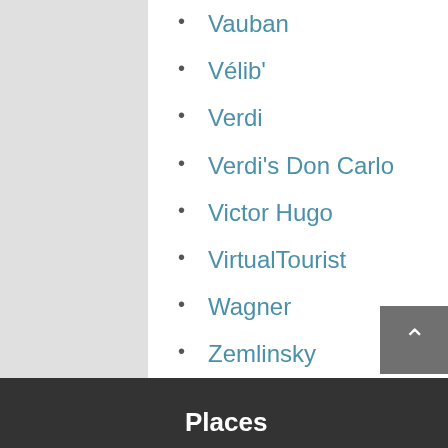Vauban
Vélib'
Verdi
Verdi's Don Carlo
Victor Hugo
VirtualTourist
Wagner
Zemlinsky
Search this blog…
Search...
Places